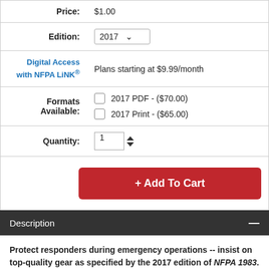| Label | Value |
| --- | --- |
| Edition: | 2017 |
| Digital Access with NFPA LiNK® | Plans starting at $9.99/month |
| Formats Available: | 2017 PDF - ($70.00)
2017 Print - ($65.00) |
| Quantity: | 1 |
+ Add To Cart
Description
Protect responders during emergency operations -- insist on top-quality gear as specified by the 2017 edition of NFPA 1983. Completely reorganized for easy referencing and updated for today's challenges and current equipment, NFPA 1983: Standard on Life Safety Rope and Equipment for Emergency Services specifies current minimum requirements for the design, performance, testing, and certification of life safety rope and associated equipment used to support emergency services personnel and civilians during rescue, fire fighting, or other emergency